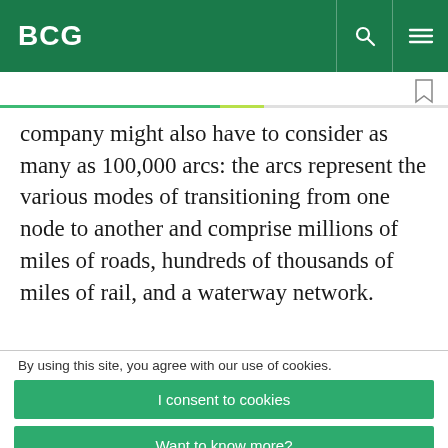BCG
company might also have to consider as many as 100,000 arcs: the arcs represent the various modes of transitioning from one node to another and comprise millions of miles of roads, hundreds of thousands of miles of rail, and a waterway network.
By using this site, you agree with our use of cookies.
I consent to cookies
Want to know more?
Read our Cookie Policy